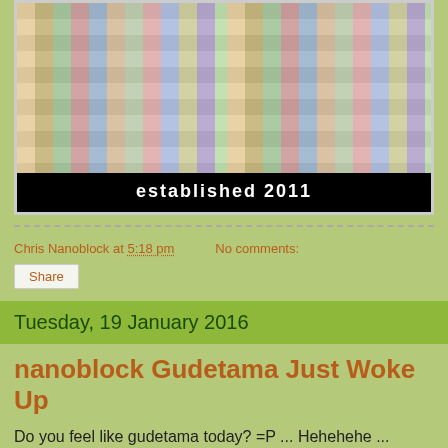[Figure (photo): Banner image showing a mosaic grid of nanoblock toy figurine photos with 'established 2011' text on black background below]
Chris Nanoblock at 5:18 pm   No comments:
Share
Tuesday, 19 January 2016
nanoblock Gudetama Just Woke Up
Do you feel like gudetama today? =P ... Hehehehe ...
[Figure (photo): Partial image showing a yellow rounded rectangle with 'gudetama' text in italic - a Nanoblock product packaging or image]